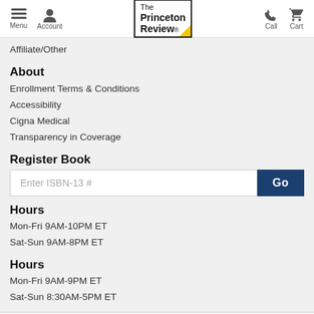Menu | Account | The Princeton Review | Call | Cart
Affiliate/Other
About
Enrollment Terms & Conditions
Accessibility
Cigna Medical
Transparency in Coverage
Register Book
Enter ISBN-13 # [Go]
Hours
Mon-Fri 9AM-10PM ET
Sat-Sun 9AM-8PM ET
Hours
Mon-Fri 9AM-9PM ET
Sat-Sun 8:30AM-5PM ET
©2022 TPR Education IP Holdings, LLC. All Rights Reserved. The Princeton Review is not affiliated with Princeton University.